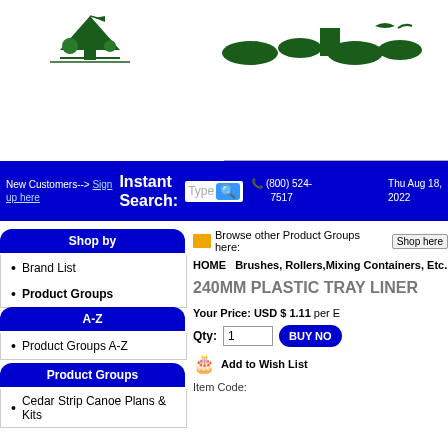[Figure (logo): Green outdoor/nature logo on the left side of header]
[Figure (logo): Partial green logo on the right side of header (cut off)]
Storefront | View Cart | Login | Account Info | Message Forums | Customer Gallery
New Customers--> Sign up here  Instant Search:  (800) 524-7517  Thu Aug 18, 2022
Shop by
Brand List
Product Groups
A-Z
Product Groups A-Z
Product Groups
Cedar Strip Canoe Plans & Kits
Browse other Product Groups here: Shop here
HOME  Brushes, Rollers,Mixing Containers, Etc.
240MM PLASTIC TRAY LINER
Your Price: USD $ 1.11 per E
Qty: 1  BUY NOW
Add to Wish List
Item Code: